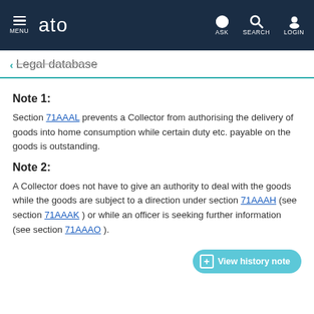MENU | ato | ASK | SEARCH | LOGIN
← Legal database
Note 1:
Section 71AAAL prevents a Collector from authorising the delivery of goods into home consumption while certain duty etc. payable on the goods is outstanding.
Note 2:
A Collector does not have to give an authority to deal with the goods while the goods are subject to a direction under section 71AAAH (see section 71AAAK ) or while an officer is seeking further information (see section 71AAAO ).
+ View history note